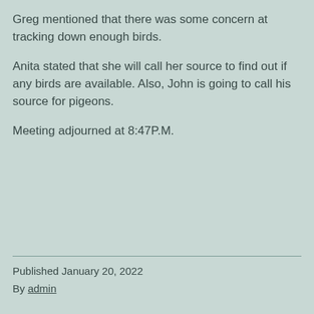Greg mentioned that there was some concern at tracking down enough birds.
Anita stated that she will call her source to find out if any birds are available. Also, John is going to call his source for pigeons.
Meeting adjourned at 8:47P.M.
Published January 20, 2022
By admin